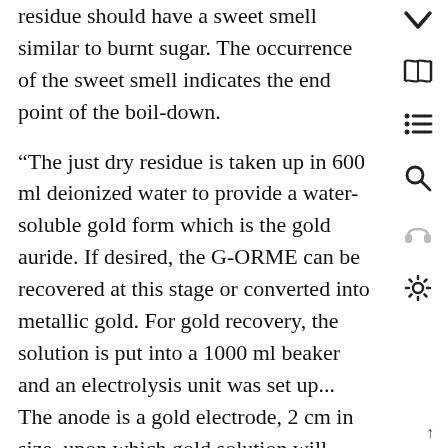residue should have a sweet smell similar to burnt sugar. The occurrence of the sweet smell indicates the end point of the boil-down.
“The just dry residue is taken up in 600 ml deionized water to provide a water- soluble gold form which is the gold auride. If desired, the G-ORME can be recovered at this stage or converted into metallic gold. For gold recovery, the solution is put into a 1000 ml beaker and an electrolysis unit was set up... The anode is a gold electrode, 2 cm in size, upon which gold solution will plate out. The cathode comprises a 6.8 cm? platinum electrode contined in a Nafion 117 chamber... Inside the Nafion chamber l 200 ml of electrolyte solution containing 5 ml sulfuric acid per 600 ml of electrolyte solution
↑